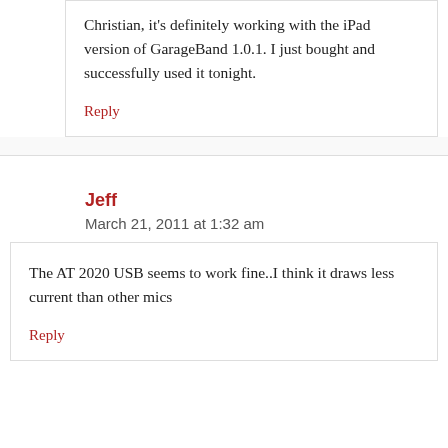Christian, it’s definitely working with the iPad version of GarageBand 1.0.1. I just bought and successfully used it tonight.
Reply
Jeff
March 21, 2011 at 1:32 am
The AT 2020 USB seems to work fine..I think it draws less current than other mics
Reply